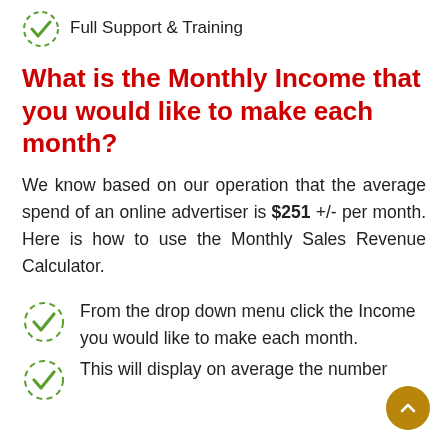Full Support & Training
What is the Monthly Income that you would like to make each month?
We know based on our operation that the average spend of an online advertiser is $251 +/- per month. Here is how to use the Monthly Sales Revenue Calculator.
From the drop down menu click the Income you would like to make each month.
This will display on average the number